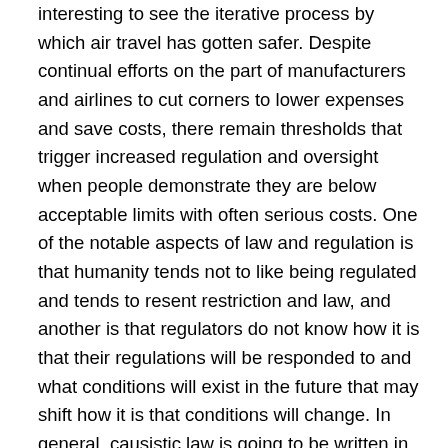interesting to see the iterative process by which air travel has gotten safer. Despite continual efforts on the part of manufacturers and airlines to cut corners to lower expenses and save costs, there remain thresholds that trigger increased regulation and oversight when people demonstrate they are below acceptable limits with often serious costs. One of the notable aspects of law and regulation is that humanity tends not to like being regulated and tends to resent restriction and law, and another is that regulators do not know how it is that their regulations will be responded to and what conditions will exist in the future that may shift how it is that conditions will change. In general, causistic law is going to be written in tears and blood, because it springs from responses to human suffering. It cannot be expected to be any different.
As human beings, hindsight deeply colors our thinking